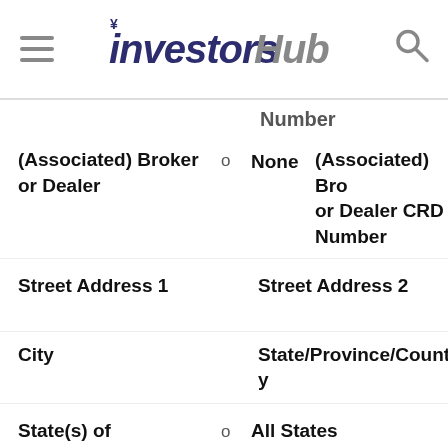investorsHub
Number
(Associated) Broker or Dealer  o  None  (Associated) Broker or Dealer CRD Number
Street Address 1  Street Address 2
City  State/Province/Country
State(s) of Solicitation  o  All States